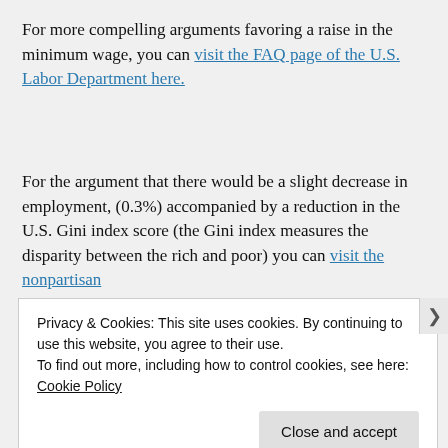For more compelling arguments favoring a raise in the minimum wage, you can visit the FAQ page of the U.S. Labor Department here.
For the argument that there would be a slight decrease in employment, (0.3%) accompanied by a reduction in the U.S. Gini index score (the Gini index measures the disparity between the rich and poor) you can visit the nonpartisan
Privacy & Cookies: This site uses cookies. By continuing to use this website, you agree to their use.
To find out more, including how to control cookies, see here: Cookie Policy
Close and accept